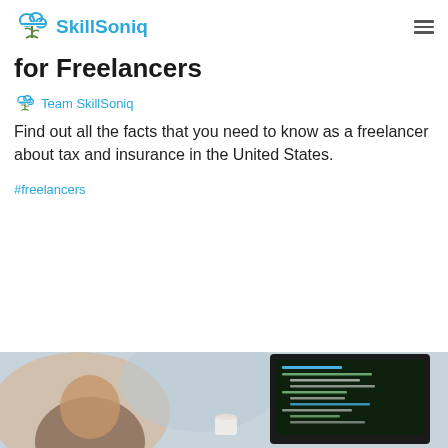SkillSoniq
for Freelancers
Team SkillSoniq
Find out all the facts that you need to know as a freelancer about tax and insurance in the United States.
#freelancers
[Figure (photo): Person working at a computer with a monitor showing code, blurred background with coffee cup]